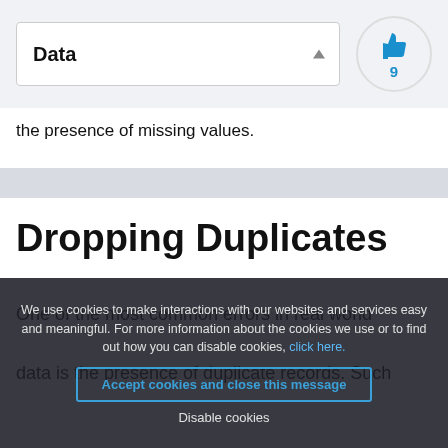Data
the presence of missing values.
Dropping Duplicates
One of the most common errors in real world data is the presence of duplicate records. Such records are of no use and must be removed. In your dataset, there is a duplicate variable and w[ith] b[eing] ec[ords]. The first line of co[de] belo[w uses] the
We use cookies to make interactions with our websites and services easy and meaningful. For more information about the cookies we use or to find out how you can disable cookies, click here. Accept cookies and close this message. Disable cookies.